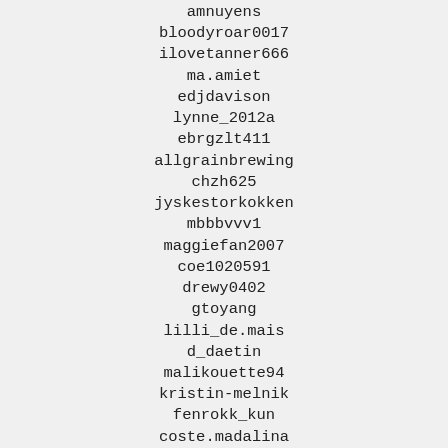amnuyens
bloodyroar0017
ilovetanner666
ma.amiet
edjdavison
lynne_2012a
ebrgzlt411
allgrainbrewing
chzh625
jyskestorkokken
mbbbvvv1
maggiefan2007
coe1020591
drewy0402
gtoyang
lilli_de.mais
d_daetin
malikouette94
kristin-melnik
fenrokk_kun
coste.madalina
847404435
fmateus046
aunjwc
mattyowens666